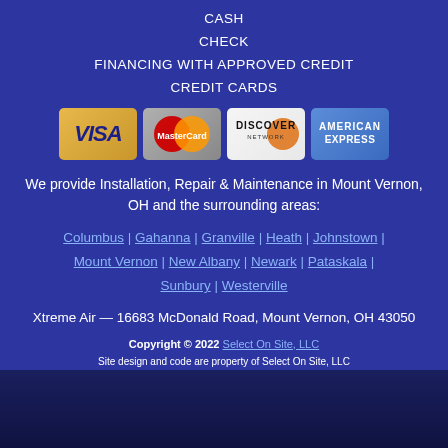CASH
CHECK
FINANCING WITH APPROVED CREDIT
CREDIT CARDS
[Figure (logo): Four credit card logos: Visa, MasterCard, Discover Network, American Express]
We provide Installation, Repair & Maintenance in Mount Vernon, OH and the surrounding areas:
Columbus | Gahanna | Granville | Heath | Johnstown | Mount Vernon | New Albany | Newark | Pataskala | Sunbury | Westerville
Xtreme Air — 16683 McDonald Road, Mount Vernon, OH 43050
Copyright © 2022 Select On Site, LLC
Site design and code are property of Select On Site, LLC
Product logos and images are the property of their respective manufacturers